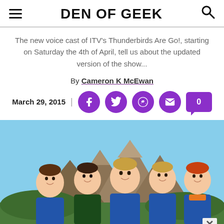DEN OF GEEK
The new voice cast of ITV's Thunderbirds Are Go!, starting on Saturday the 4th of April, tell us about the updated version of the show...
By Cameron K McEwan
March 29, 2015
[Figure (photo): Animated characters from Thunderbirds Are Go! — five young male characters in blue uniforms standing in front of rocky mountains and a blue sky.]